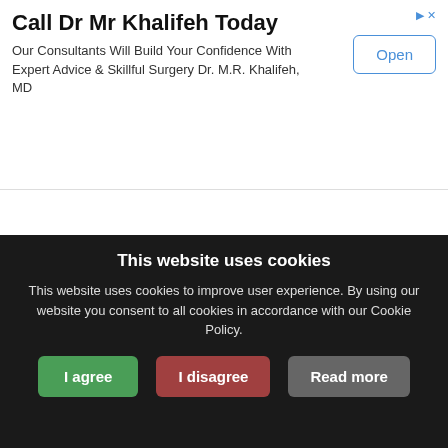[Figure (screenshot): Advertisement banner for Dr Mr Khalifeh with title 'Call Dr Mr Khalifeh Today', body text 'Our Consultants Will Build Your Confidence With Expert Advice & Skillful Surgery Dr. M.R. Khalifeh, MD', and an 'Open' button]
Forum Stats:
forum viewed 334,130 times
1,112 messages
265 topics
topics per page limited to: 5
average number of messages per page: 21
53 pages
This website uses cookies
This website uses cookies to improve user experience. By using our website you consent to all cookies in accordance with our Cookie Policy.
I agree   I disagree   Read more